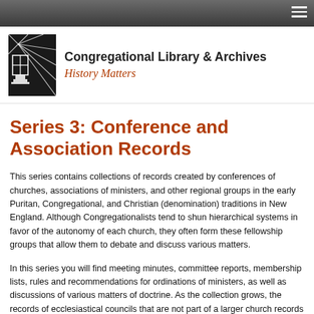Congregational Library & Archives — History Matters
Series 3: Conference and Association Records
This series contains collections of records created by conferences of churches, associations of ministers, and other regional groups in the early Puritan, Congregational, and Christian (denomination) traditions in New England. Although Congregationalists tend to shun hierarchical systems in favor of the autonomy of each church, they often form these fellowship groups that allow them to debate and discuss various matters.
In this series you will find meeting minutes, committee reports, membership lists, rules and recommendations for ordinations of ministers, as well as discussions of various matters of doctrine. As the collection grows, the records of ecclesiastical councils that are not part of a larger church records collection will also be added